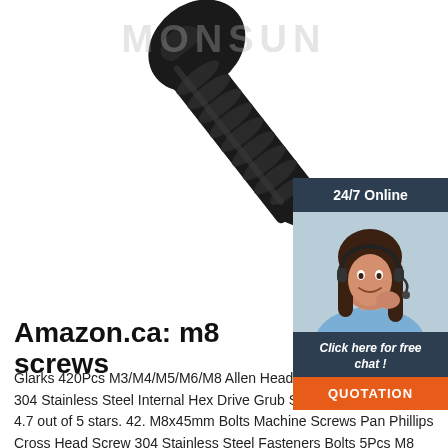[Figure (photo): Close-up photo of a black self-drilling screw (M8 style) with MONSUN watermark text in gray across the top]
[Figure (infographic): 24/7 Online chat widget with dark navy header, photo of smiling woman with headset, italic text 'Click here for free chat !' and orange QUOTATION button]
Amazon.ca: m8 screws
Glarks 420Pcs M3/M4/M5/M6/M8 Allen Head Socket Set Screw, 304 Stainless Steel Internal Hex Drive Grub Screw Assortment Kit. 4.7 out of 5 stars. 42. M8x45mm Bolts Machine Screws Pan Phillips Cross Head Screw 304 Stainless Steel Fasteners Bolts 5Pcs M8 Screws TV Wall Mounting. $10.99.